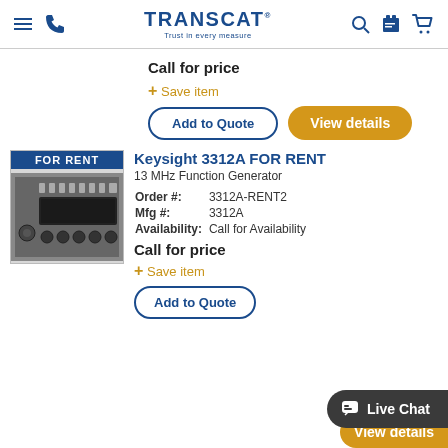TRANSCAT — Trust in every measure
Call for price
+ Save item
Add to Quote
View details
[Figure (photo): Keysight 3312A function generator instrument with FOR RENT badge overlay]
Keysight 3312A FOR RENT
13 MHz Function Generator
Order #: 3312A-RENT2
Mfg #: 3312A
Availability: Call for Availability
Call for price
+ Save item
Add to Quote
View details
Live Chat